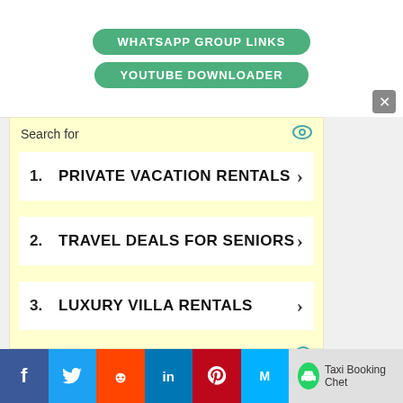[Figure (screenshot): Green button: WHATSAPP GROUP LINKS]
[Figure (screenshot): Green button: YOUTUBE DOWNLOADER]
Search for
1. PRIVATE VACATION RENTALS
2. TRAVEL DEALS FOR SENIORS
3. LUXURY VILLA RENTALS
Yahoo! Search | Sponsored
[Figure (screenshot): Social share bar: Facebook, Twitter, Reddit, LinkedIn, Pinterest, Mix, WhatsApp Taxi Booking Chet]